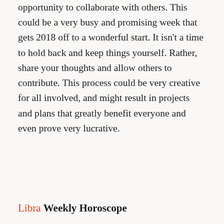opportunity to collaborate with others. This could be a very busy and promising week that gets 2018 off to a wonderful start. It isn't a time to hold back and keep things yourself. Rather, share your thoughts and allow others to contribute. This process could be very creative for all involved, and might result in projects and plans that greatly benefit everyone and even prove very lucrative.
Libra Weekly Horoscope